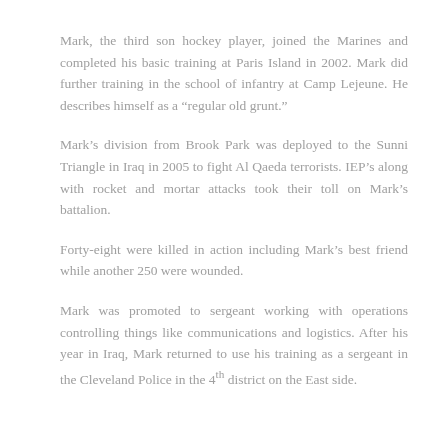Mark, the third son hockey player, joined the Marines and completed his basic training at Paris Island in 2002. Mark did further training in the school of infantry at Camp Lejeune. He describes himself as a “regular old grunt.”
Mark’s division from Brook Park was deployed to the Sunni Triangle in Iraq in 2005 to fight Al Qaeda terrorists. IEP’s along with rocket and mortar attacks took their toll on Mark’s battalion.
Forty-eight were killed in action including Mark’s best friend while another 250 were wounded.
Mark was promoted to sergeant working with operations controlling things like communications and logistics. After his year in Iraq, Mark returned to use his training as a sergeant in the Cleveland Police in the 4th district on the East side.